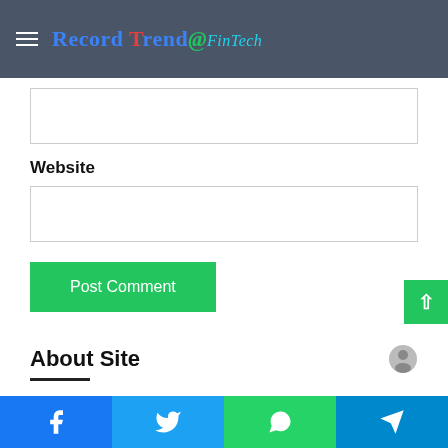Record Trend @ FinTech
Website
Post Comment
About Site
RecordTrend.com is a website that focuses on fintech, network marketing and customer research. We are responsible for collecting the latest research data, authority data, industry research and analysis reports. We are committed to becoming a data and report sharing
Facebook | Twitter | WhatsApp | Telegram